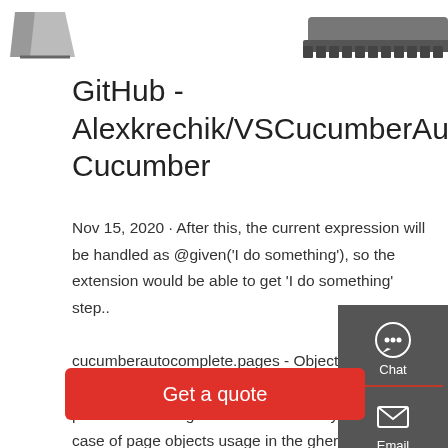[Figure (photo): Partial view of a robot or tracked vehicle at the top of the page, cropped]
GitHub - Alexkrechik/VSCucumberAutoCompl Cucumber
Nov 15, 2020 · After this, the current expression will be handled as @given('I do something'), so the extension would be able to get 'I do something' step.. cucumberautocomplete.pages - Object, which consists of 'page name' => 'page object file path' pairs It is allowing to handle some very specific case of page objects usage in the gherkin steps.. cucumberautocomplete.skipDocStringsFormat - Skip format ...
[Figure (infographic): Sidebar with Chat, Email, Contact icons on dark grey background]
Get a quote